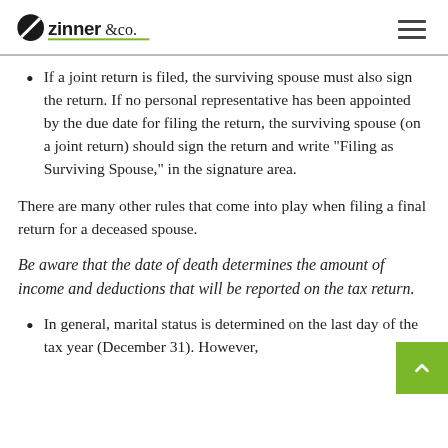Zinner & Co.
If a joint return is filed, the surviving spouse must also sign the return. If no personal representative has been appointed by the due date for filing the return, the surviving spouse (on a joint return) should sign the return and write 'Filing as Surviving Spouse,' in the signature area.
There are many other rules that come into play when filing a final return for a deceased spouse.
Be aware that the date of death determines the amount of income and deductions that will be reported on the tax return.
In general, marital status is determined on the last day of the tax year (December 31). However,